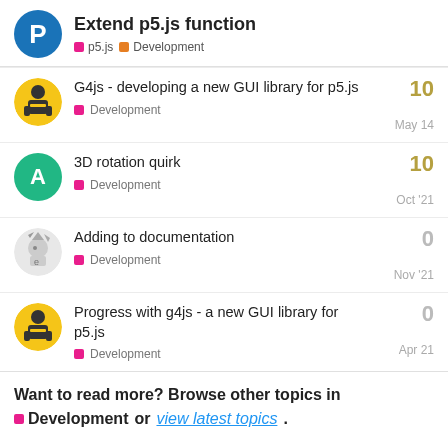Extend p5.js function — p5.js Development
G4js - developing a new GUI library for p5.js — Development — 10 — May 14
3D rotation quirk — Development — 10 — Oct '21
Adding to documentation — Development — 0 — Nov '21
Progress with g4js - a new GUI library for p5.js — Development — 0 — Apr 21
Want to read more? Browse other topics in Development or view latest topics.